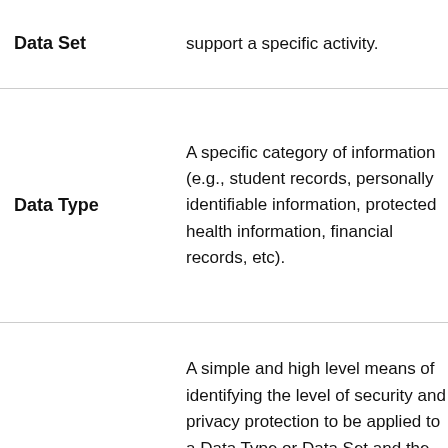| Term | Definition |
| --- | --- |
| Data Set | …support a specific activity. |
| Data Type | A specific category of information (e.g., student records, personally identifiable information, protected health information, financial records, etc). |
| Data Classification | A simple and high level means of identifying the level of security and privacy protection to be applied to a Data Type or Data Set and the scope in which it can be shared. One |